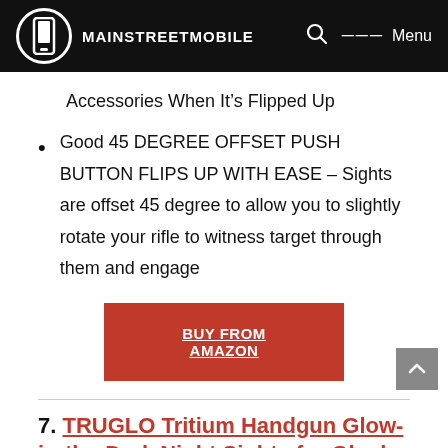MAINSTREETMOBILE
Accessories When It’s Flipped Up
Good 45 DEGREE OFFSET PUSH BUTTON FLIPS UP WITH EASE – Sights are offset 45 degree to allow you to slightly rotate your rifle to witness target through them and engage
[Figure (other): Red BUY FROM AMAZON button]
7. TRUGLO Tritium Handgun Glow-in-the-Dark Night Sights for Glock